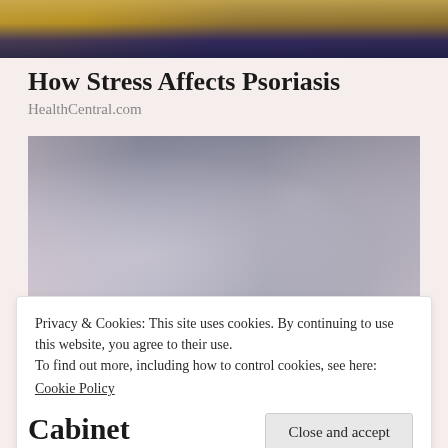[Figure (photo): Top portion of a photo showing a person seated, wearing jeans and a yellow/mustard top, cropped at the waist]
How Stress Affects Psoriasis
HealthCentral.com
[Figure (photo): A woman with long hair shopping in a store aisle, looking at shelves with products, wearing a plaid shirt. Store interior with ceiling lights visible.]
Privacy & Cookies: This site uses cookies. By continuing to use this website, you agree to their use.
To find out more, including how to control cookies, see here:
Cookie Policy
Close and accept
Cabinet